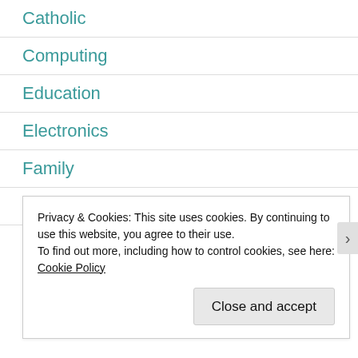Catholic
Computing
Education
Electronics
Family
Films
Gadgets
Privacy & Cookies: This site uses cookies. By continuing to use this website, you agree to their use.
To find out more, including how to control cookies, see here: Cookie Policy
Close and accept